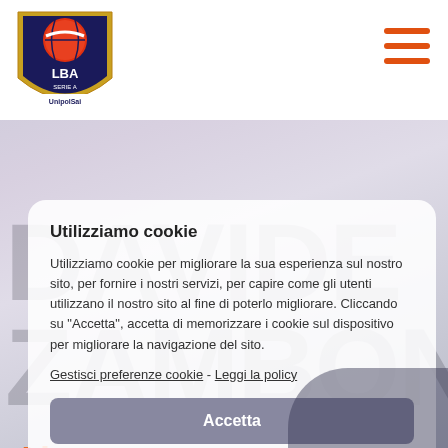[Figure (logo): LBA Serie A UnipolSai basketball league logo — shield shape with red/orange basketball graphic]
[Figure (infographic): Hamburger menu icon with three orange horizontal bars]
DAVIDE ZAMBON
Ala
Utilizziamo cookie
Utilizziamo cookie per migliorare la sua esperienza sul nostro sito, per fornire i nostri servizi, per capire come gli utenti utilizzano il nostro sito al fine di poterlo migliorare. Cliccando su "Accetta", accetta di memorizzare i cookie sul dispositivo per migliorare la navigazione del sito.
Gestisci preferenze cookie - Leggi la policy
Accetta
Rifiuta